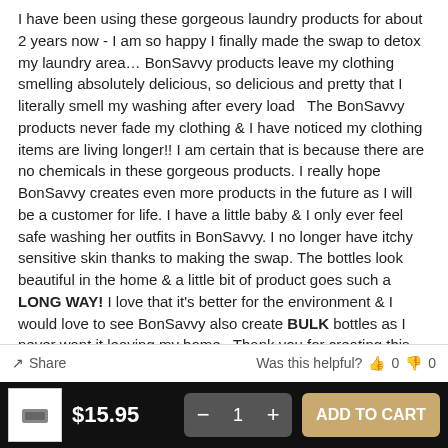I have been using these gorgeous laundry products for about 2 years now - I am so happy I finally made the swap to detox my laundry area… BonSavvy products leave my clothing smelling absolutely delicious, so delicious and pretty that I literally smell my washing after every load  The BonSavvy products never fade my clothing & I have noticed my clothing items are living longer!! I am certain that is because there are no chemicals in these gorgeous products. I really hope BonSavvy creates even more products in the future as I will be a customer for life. I have a little baby & I only ever feel safe washing her outfits in BonSavvy. I no longer have itchy sensitive skin thanks to making the swap. The bottles look beautiful in the home & a little bit of product goes such a LONG WAY! I love that it's better for the environment & I would love to see BonSavvy also create BULK bottles as I never want it leaving my home  Thank you for creating this one of a kind, beautifully scented, chemical free product! I'm your biggest fan BonSavvy!!! Jaii Lee ~ Jaii Lee Make Up & Photography xx
Share   Was this helpful?  0  0